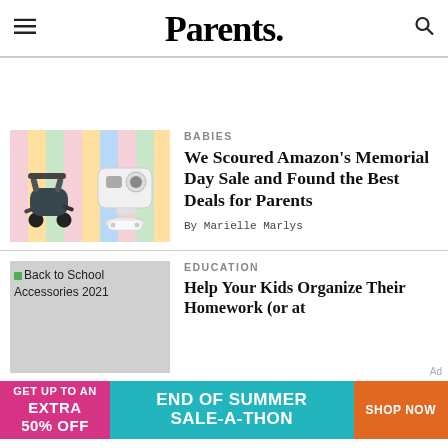Parents.
[Figure (photo): Baby stroller and baby monitor products on a colorful striped background]
BABIES
We Scoured Amazon's Memorial Day Sale and Found the Best Deals for Parents
By Marielle Marlys
[Figure (photo): Back to School Accessories 2021]
EDUCATION
Help Your Kids Organize Their Homework (or at
[Figure (other): Banner ad: GET UP TO AN EXTRA 50% OFF | END OF SUMMER SALE-A-THON | SHOP NOW]